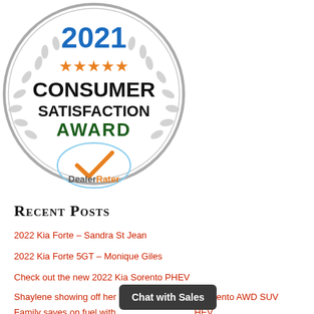[Figure (logo): 2021 Consumer Satisfaction Award badge from DealerRater. Circular badge with laurel wreath, five orange stars, bold text 'CONSUMER SATISFACTION AWARD', and DealerRater logo with orange checkmark.]
Recent Posts
2022 Kia Forte – Sandra St Jean
2022 Kia Forte 5GT – Monique Giles
Check out the new 2022 Kia Sorento PHEV
Shaylene showing off her brand new 2021 Kia Sorento AWD SUV
Family saves on fuel with ... PHEV